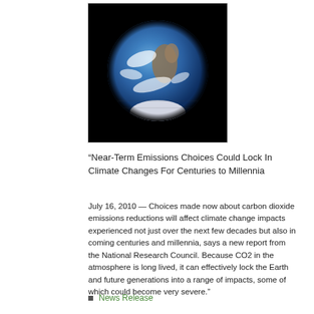[Figure (photo): Photograph of Earth from space (Blue Marble), showing the globe on a black background.]
“Near-Term Emissions Choices Could Lock In Climate Changes For Centuries to Millennia
July 16, 2010 — Choices made now about carbon dioxide emissions reductions will affect climate change impacts experienced not just over the next few decades but also in coming centuries and millennia, says a new report from the National Research Council. Because CO2 in the atmosphere is long lived, it can effectively lock the Earth and future generations into a range of impacts, some of which could become very severe."
News Release